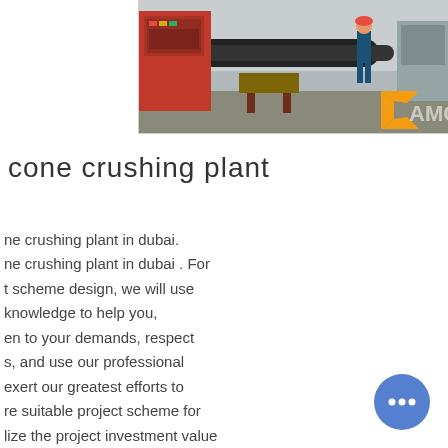[Figure (photo): Industrial manufacturing floor photo showing large machinery being operated by a worker in blue uniform and red hard hat. Red CNC machine visible on left. Orange bracket logo with text 'AMC' overlay in bottom right of image.]
cone crushing plant
ne crushing plant in dubai. ne crushing plant in dubai . For t scheme design, we will use knowledge to help you, en to your demands, respect s, and use our professional exert our greatest efforts to re suitable project scheme for lize the project investment value ore quickly.